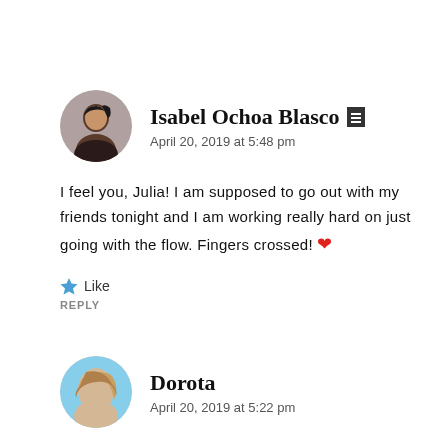[Figure (photo): Circular avatar photo of Isabel Ochoa Blasco, a woman with dark hair]
Isabel Ochoa Blasco [verified icon]
April 20, 2019 at 5:48 pm
I feel you, Julia! I am supposed to go out with my friends tonight and I am working really hard on just going with the flow. Fingers crossed! ❤
★ Like
REPLY
[Figure (photo): Circular avatar photo of Dorota, a woman outdoors]
Dorota
April 20, 2019 at 5:22 pm